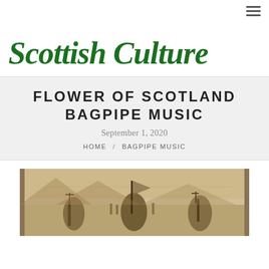≡ (menu icon)
Scottish Culture
FLOWER OF SCOTLAND BAGPIPE MUSIC
September 1, 2020
HOME / BAGPIPE MUSIC
[Figure (photo): Historical engraving or illustration of bagpipers in a battle or ceremonial scene, sepia-toned]